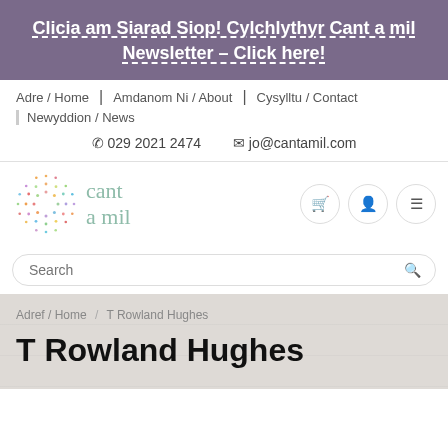Clicia am Siarad Siop! Cylchlythyr Cant a mil Newsletter - Click here!
Adre / Home | Amdanom Ni / About | Cysylltu / Contact | Newyddion / News
029 2021 2474   jo@cantamil.com
[Figure (logo): Cant a mil logo with circular colorful dot pattern and cursive text 'cant a mil']
Search
Adref / Home / T Rowland Hughes
T Rowland Hughes